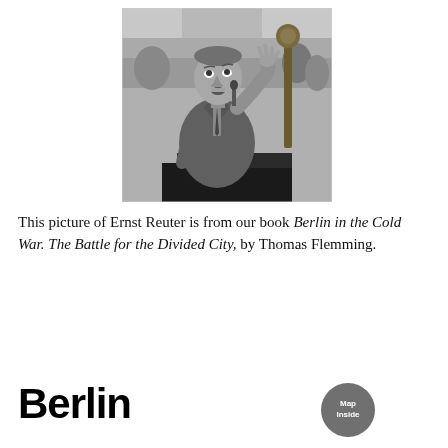[Figure (photo): Black and white photograph of Ernst Reuter speaking at a podium with a raised hand, microphone visible, crowd in background]
This picture of Ernst Reuter is from our book Berlin in the Cold War. The Battle for the Divided City, by Thomas Flemming.
Berlin
[Figure (other): Circular badge/seal reading 'Map Inside']